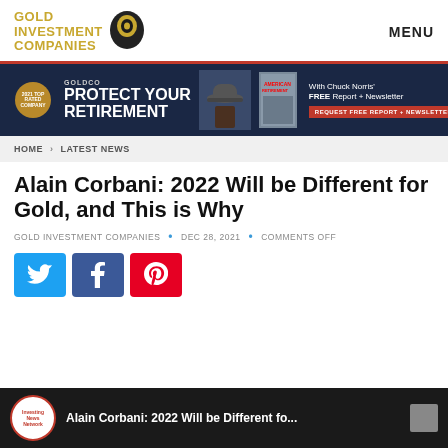GOLD INVESTMENT COMPANIES | MENU
[Figure (infographic): Goldco advertisement banner: dark navy background with '2021 Top Rated Company' badge, 'PROTECT YOUR RETIREMENT' headline, image of man in cowboy hat, 'With Chuck Norris FREE Report + Newsletter' text and red 'REQUEST FREE REPORT + NEWSLETTER' button]
HOME > LATEST NEWS
Alain Corbani: 2022 Will be Different for Gold, and This is Why
GOLD INVESTMENT COMPANIES • DEC 28, 2021 • COMMENTS OFF
[Figure (infographic): Social share buttons: Twitter (blue), Facebook (dark blue), Pinterest (red)]
[Figure (screenshot): Video player bar: dark background with Investing News Network logo, title 'Alain Corbani: 2022 Will be Different fo...' and menu icon]